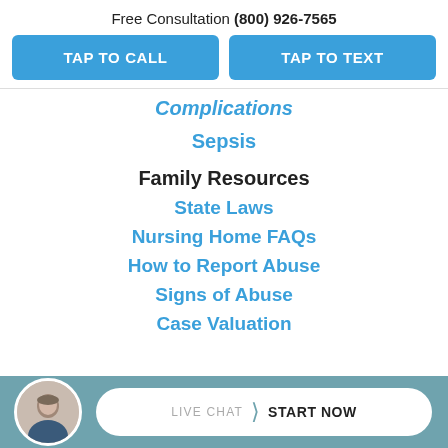Free Consultation (800) 926-7565
TAP TO CALL
TAP TO TEXT
Complications
Sepsis
Family Resources
State Laws
Nursing Home FAQs
How to Report Abuse
Signs of Abuse
Case Valuation
LIVE CHAT START NOW